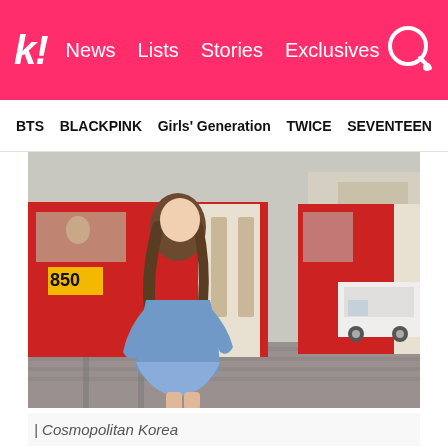k! News Lists Stories Exclusives
BTS BLACKPINK Girls' Generation TWICE SEVENTEEN
[Figure (photo): A young woman in a light blue dress/outfit standing in front of a red and cream tram (number 850) on a cobblestone street, likely in Prague. Buildings visible in background. The woman has long brown wavy hair.]
| Cosmopolitan Korea